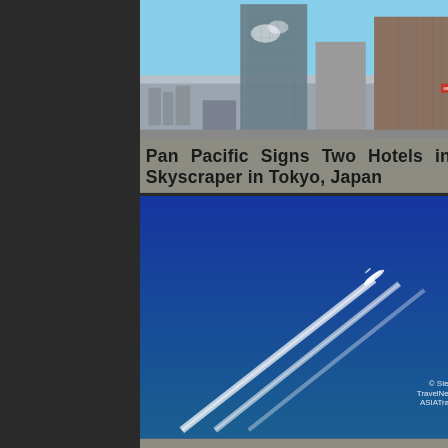[Figure (photo): Tokyo skyscraper skyline with tall glass and concrete buildings under clear blue sky]
Pan Pacific Signs Two Hotels in One Skyscraper in Tokyo, Japan
[Figure (photo): Airplane flying high altitude leaving contrail streaks across deep blue sky, watermark: © Steven Howard TravelNewsAsia.com ASIATravelTips.com]
Asia Pacific Airlines Flew 11.3 Million Int Passengers in July